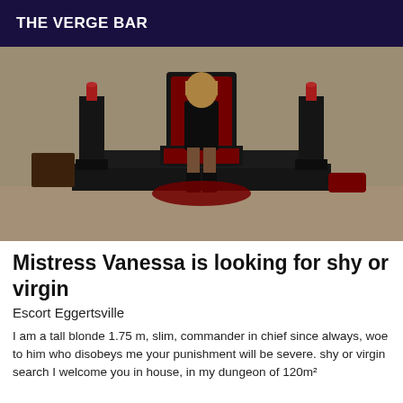THE VERGE BAR
[Figure (photo): A blonde woman in a black corset seated on a dark throne-like chair with red cushion, flanked by two tall black candle stands with red candles, on a raised platform in a dungeon-style room.]
Mistress Vanessa is looking for shy or virgin
Escort Eggertsville
I am a tall blonde 1.75 m, slim, commander in chief since always, woe to him who disobeys me your punishment will be severe. shy or virgin search I welcome you in house, in my dungeon of 120m²